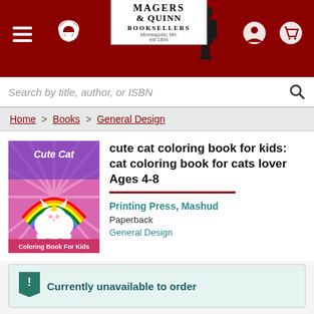[Figure (screenshot): Magers & Quinn Booksellers website header with dark red background, hamburger menu, location pin, logo, user icon, and shopping cart icon]
Search by title, author, or ISBN
Home > Books > General Design
[Figure (illustration): Book cover for 'cute cat coloring book for kids' featuring a cartoon white cat unicorn on a rainbow with pink sunburst background and text 'Cute Cat' and 'Coloring Book For Kids']
cute cat coloring book for kids: cat coloring book for cats lover Ages 4-8
Printing Press, Mashud
Paperback
General Design
Currently unavailable to order